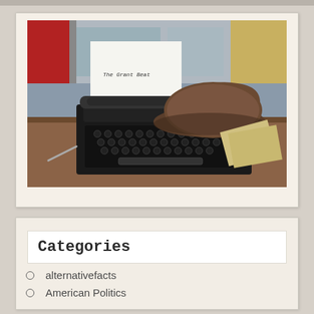[Figure (photo): A vintage black typewriter on a wooden desk with a sheet of paper reading 'The Grant Beat', and a brown fedora hat resting on top of the typewriter. Office cubicle background visible.]
Categories
alternativefacts
American Politics